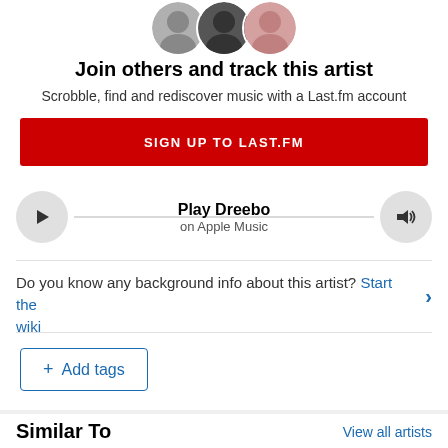[Figure (illustration): Three overlapping circular avatar photos of people at the top center]
Join others and track this artist
Scrobble, find and rediscover music with a Last.fm account
[Figure (other): Red button labeled SIGN UP TO LAST.FM]
[Figure (other): Music player bar with play button, Play Dreebo label, on Apple Music, and volume button]
Do you know any background info about this artist? Start the wiki
[Figure (other): + Add tags button with blue border]
Similar To
View all artists